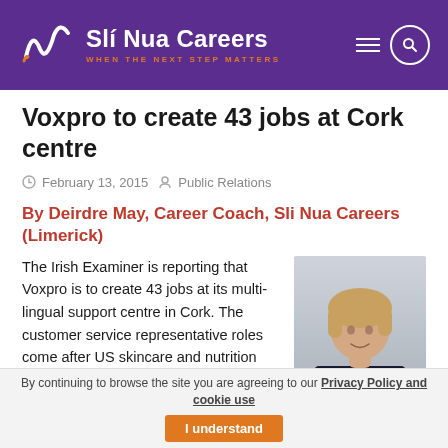Slí Nua Careers — WHEN THE NEXT STEP MATTERS
Voxpro to create 43 jobs at Cork centre
February 13, 2015   Public Relations
By Deirdre May, Career Coach, Sli Nua Careers (Limerick)
The Irish Examiner is reporting that Voxpro is to create 43 jobs at its multi-lingual support centre in Cork. The customer service representative roles come after US skincare and nutrition company, It Works!, today announced
[Figure (photo): Portrait photo of a woman with blonde hair wearing a dark top, smiling]
By continuing to browse the site you are agreeing to our Privacy Policy and cookie use   I understand